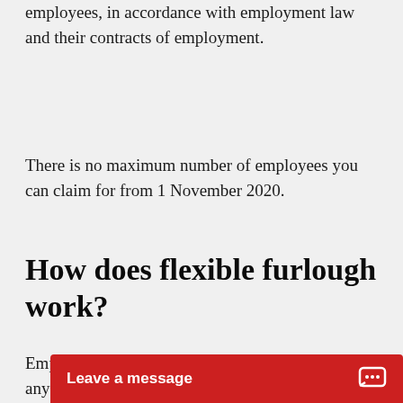employees, in accordance with employment law and their contracts of employment.
There is no maximum number of employees you can claim for from 1 November 2020.
How does flexible furlough work?
Employees can work for any amount of time, and any work pattern and claim the grant for the furloughed hours, with reference to how they would usually have wo...